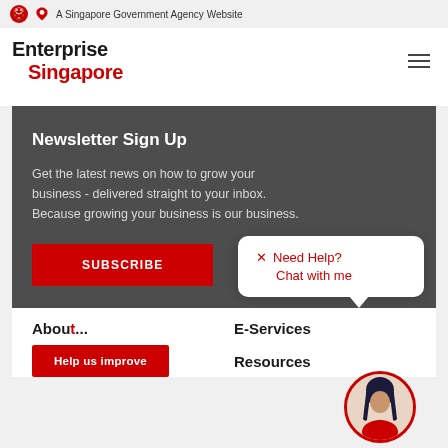A Singapore Government Agency Website
[Figure (logo): Enterprise Singapore logo - black text 'Enterprise' and red text 'Singapore']
Newsletter Sign Up
Get the latest news on how to grow your business - delivered straight to your inbox. Because growing your business is our business.
SUBSCRIBE
Need Help? Chat with me
E-Services
Help us improve
Resources